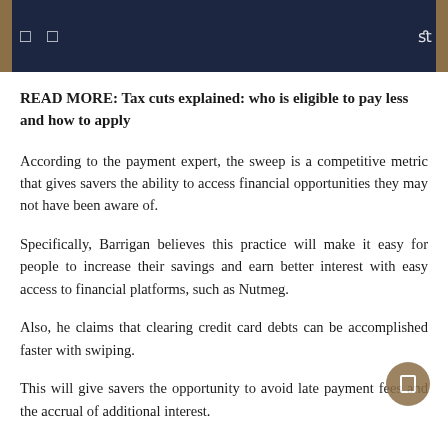READ MORE: Tax cuts explained: who is eligible to pay less and how to apply
According to the payment expert, the sweep is a competitive metric that gives savers the ability to access financial opportunities they may not have been aware of.
Specifically, Barrigan believes this practice will make it easy for people to increase their savings and earn better interest with easy access to financial platforms, such as Nutmeg.
Also, he claims that clearing credit card debts can be accomplished faster with swiping.
This will give savers the opportunity to avoid late payment fees and the accrual of additional interest.